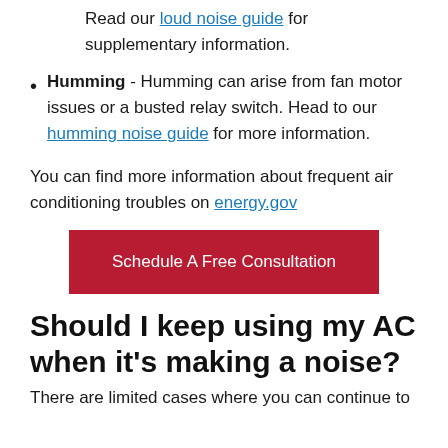Read our loud noise guide for supplementary information.
Humming - Humming can arise from fan motor issues or a busted relay switch. Head to our humming noise guide for more information.
You can find more information about frequent air conditioning troubles on energy.gov
[Figure (other): Red call-to-action button: Schedule A Free Consultation]
Should I keep using my AC when it’s making a noise?
There are limited cases where you can continue to